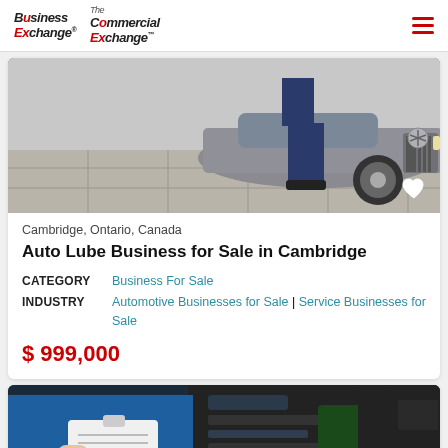Business Exchange | The Commercial Exchange
[Figure (photo): Mechanic standing next to a silver Mercedes-Benz car in a service bay or parking area]
Cambridge, Ontario, Canada
Auto Lube Business for Sale in Cambridge
| CATEGORY | INDUSTRY |
| --- | --- |
| Business For Sale | Automotive Businesses for Sale | Service Businesses for Sale |
$ 999,000
[Figure (photo): Mechanic in blue uniform writing on clipboard while inspecting a car engine]